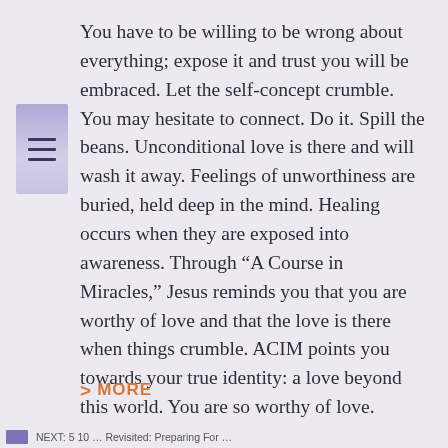[Figure (other): Purple/lavender navigation icon with three horizontal lines (hamburger menu) on a gradient purple background]
You have to be willing to be wrong about everything; expose it and trust you will be embraced. Let the self-concept crumble. You may hesitate to connect. Do it. Spill the beans. Unconditional love is there and will wash it away. Feelings of unworthiness are buried, held deep in the mind. Healing occurs when they are exposed into awareness. Through “A Course in Miracles,” Jesus reminds you that you are worthy of love and that the love is there when things crumble. ACIM points you towards your true identity: a love beyond this world. You are so worthy of love.
> MORE
NEXT: 5 10 … Revisited: Preparing For …